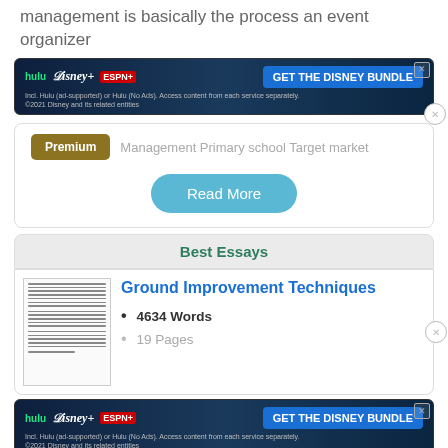management is basically the process an event organizer
[Figure (screenshot): Disney Bundle advertisement banner with Hulu, Disney+, ESPN+ logos and 'GET THE DISNEY BUNDLE' button]
Premium   Management Primary school Target market
Read More
Best Essays
Ground Improvement Techniques
4634 Words
19 Pages
[Figure (screenshot): Disney Bundle advertisement banner with Hulu, Disney+, ESPN+ logos and 'GET THE DISNEY BUNDLE' button]
AustStab Technical Note No.1 May 2002 Lime